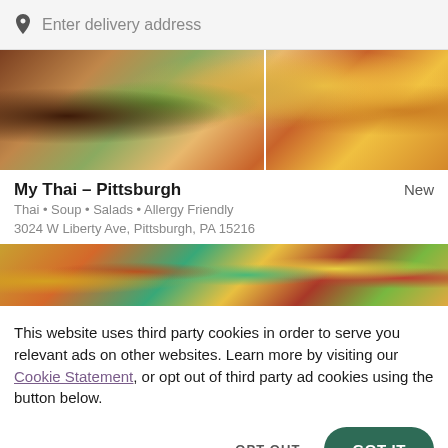Enter delivery address
[Figure (photo): Overhead food photo strip showing Thai dishes including noodles with vegetables, orange juice, and soup]
My Thai - Pittsburgh
New
Thai • Soup • Salads • Allergy Friendly
3024 W Liberty Ave, Pittsburgh, PA 15216
[Figure (photo): Second food photo strip showing various Thai dishes including pizza-like dishes and green vegetables]
This website uses third party cookies in order to serve you relevant ads on other websites. Learn more by visiting our Cookie Statement, or opt out of third party ad cookies using the button below.
OPT OUT
GOT IT